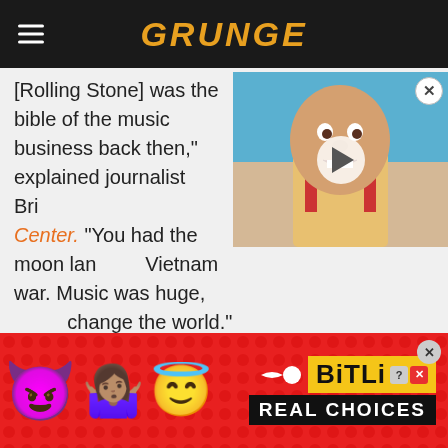GRUNGE
[Rolling Stone] was the bible of the music business back then," explained journalist Bri... Center. "You had the moon lan... Vietnam war. Music was huge, ... change the world."
[Figure (screenshot): Video thumbnail showing a bald heavyset man with suspenders, with a play button overlay and close button]
[Figure (screenshot): BitLife advertisement banner on red background with devil, person, and angel emojis, BitLife logo with REAL CHOICES text]